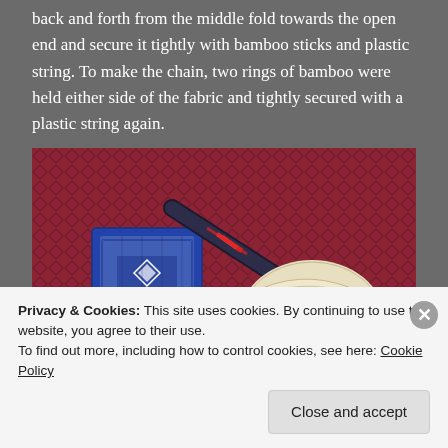back and forth from the middle fold towards the open end and secure it tightly with bamboo sticks and plastic string. To make the chain, two rings of bamboo were held either side of the fabric and tightly secured with a plastic string again.
[Figure (photo): Photo of fabric dyeing materials on a red patterned background: a folded blue and white patterned fabric, a dark bamboo stick with red string wrapped around it, and a cream/white pleated fabric piece, all laid on a diamond-pattern red fabric.]
Privacy & Cookies: This site uses cookies. By continuing to use this website, you agree to their use. To find out more, including how to control cookies, see here: Cookie Policy
Close and accept